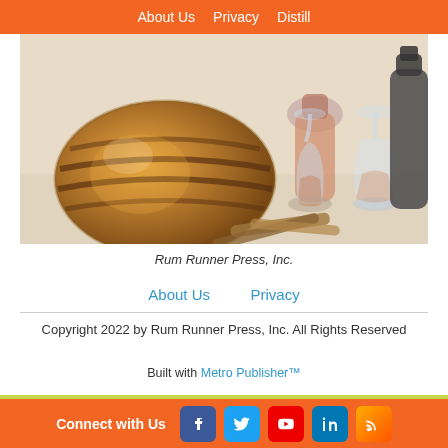About Us  Privacy  Distill
[Figure (photo): Photo of whisky/rum barrels, decanters, snifter glasses and cigars arranged as a still life]
Rum Runner Press, Inc.
About Us   Privacy
Copyright 2022 by Rum Runner Press, Inc. All Rights Reserved
Built with Metro Publisher™
Connect with Us